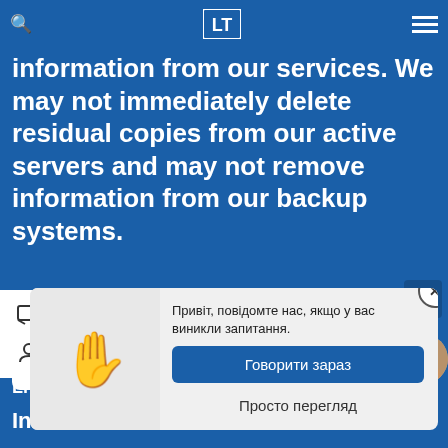information from our services. We may not immediately delete residual copies from our active servers and may not remove information from our backup systems.
Keep in mind that also search engines may retain
[Figure (screenshot): Chat popup widget with hand emoji greeting, Ukrainian text 'Привіт, повідомте нас, якщо у вас виникли запитання.' (Hello, let us know if you have questions.), two buttons: 'Говорити зараз' (Talk now) and 'Просто перегляд' (Just browsing), and a message input field with placeholder 'Написати повідомлення...' (Write a message...)]
Information we share